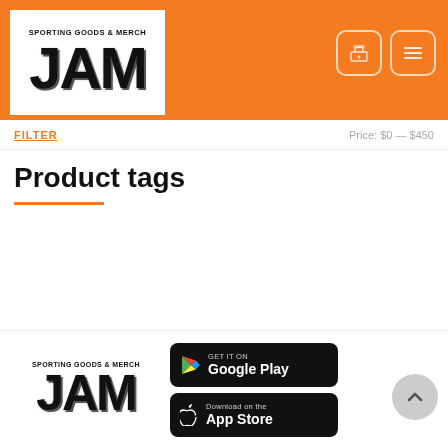[Figure (logo): JAM Sporting Goods & Merch logo on orange background with navigation icons]
FILTER   Price: $0 — $450
Product tags
[Figure (logo): JAM Sporting Goods & Merch footer logo with Google Play and App Store download buttons]